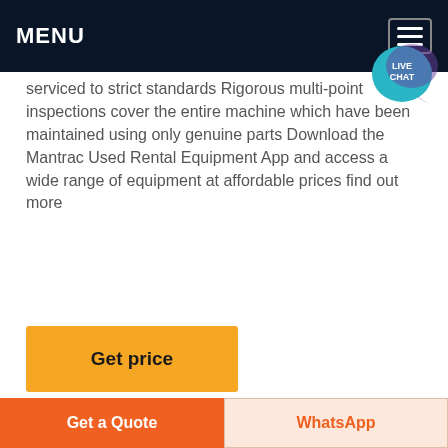MENU
serviced to strict standards Rigorous multi-point inspections cover the entire machine which have been maintained using only genuine parts Download the Mantrac Used Rental Equipment App and access a wide range of equipment at affordable prices find out more
Get price
[Figure (photo): Construction equipment (concrete mixer or similar heavy machinery) photographed outdoors against a light sky with trees and utility poles in the background]
Get a Quote
WhatsApp